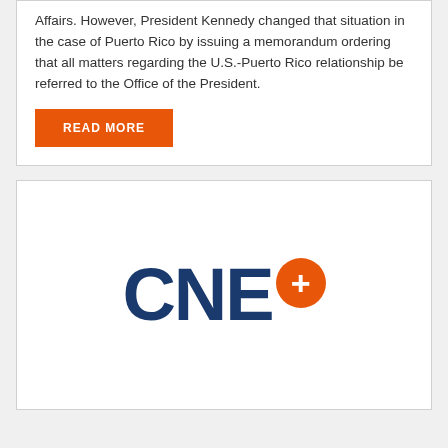Affairs. However, President Kennedy changed that situation in the case of Puerto Rico by issuing a memorandum ordering that all matters regarding the U.S.-Puerto Rico relationship be referred to the Office of the President.
READ MORE
[Figure (logo): CNE+ logo — bold dark navy blue text 'CNE' with an orange circle containing a white plus sign to the upper right of the letters]